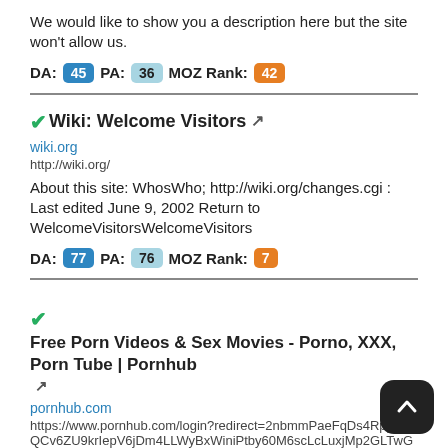We would like to show you a description here but the site won't allow us.
DA: 45  PA: 36  MOZ Rank: 42
✓Wiki: Welcome Visitors
wiki.org
http://wiki.org/
About this site: WhosWho; http://wiki.org/changes.cgi : Last edited June 9, 2002 Return to WelcomeVisitorsWelcomeVisitors
DA: 77  PA: 76  MOZ Rank: 7
✓Free Porn Videos & Sex Movies - Porno, XXX, Porn Tube | Pornhub
pornhub.com
https://www.pornhub.com/login?redirect=2nbmmPaeFqDs4RppCkQCv6ZU9krIepV6jDm4LLWyBxWiniPtby60M6scLcLuxjMp2GLTwGhu755ultar
We would like to show you a description here but the site won't allow us.